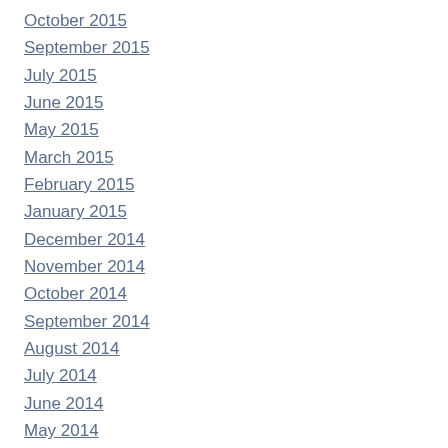October 2015
September 2015
July 2015
June 2015
May 2015
March 2015
February 2015
January 2015
December 2014
November 2014
October 2014
September 2014
August 2014
July 2014
June 2014
May 2014
April 2014
March 2014
February 2014